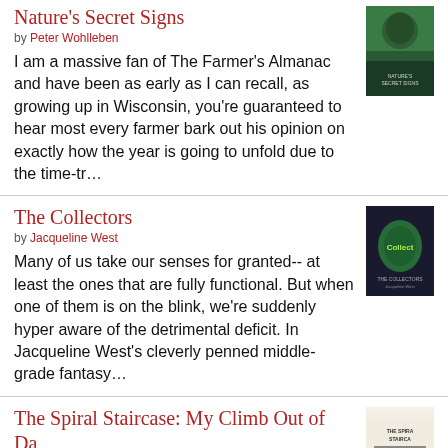Nature's Secret Signs
by Peter Wohlleben
I am a massive fan of The Farmer's Almanac and have been as early as I can recall, as growing up in Wisconsin, you're guaranteed to hear most every farmer bark out his opinion on exactly how the year is going to unfold due to the time-tr...
[Figure (photo): Book cover of Nature's Secret Signs]
The Collectors
by Jacqueline West
Many of us take our senses for granted-- at least the ones that are fully functional. But when one of them is on the blink, we're suddenly hyper aware of the detrimental deficit. In Jacqueline West's cleverly penned middle-grade fantasy...
[Figure (photo): Book cover of The Collectors]
The Spiral Staircase: My Climb Out of Darkness